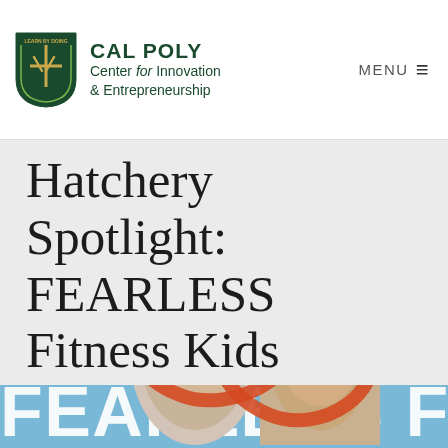CAL POLY Center for Innovation & Entrepreneurship | MENU
Hatchery Spotlight: FEARLESS Fitness Kids
[Figure (photo): Promotional photo for FEARLESS Fitness Kids showing two people (a woman and a man smiling) against a light blue background with large white block letters spelling 'FEARLESS FITNESS KIDS' and orange decorative swoosh graphics overlaid.]